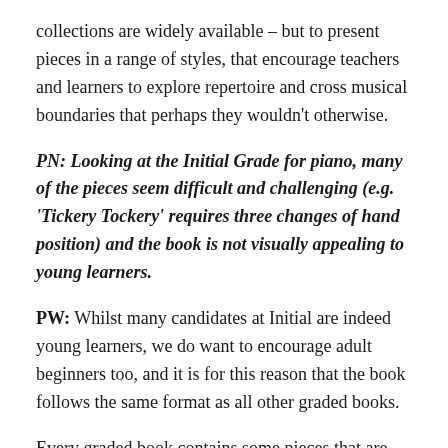collections are widely available – but to present pieces in a range of styles, that encourage teachers and learners to explore repertoire and cross musical boundaries that perhaps they wouldn't otherwise.
PN: Looking at the Initial Grade for piano, many of the pieces seem difficult and challenging (e.g. 'Tickery Tockery' requires three changes of hand position) and the book is not visually appealing to young learners.
PW: Whilst many candidates at Initial are indeed young learners, we do want to encourage adult beginners too, and it is for this reason that the book follows the same format as all other graded books.
Every graded book contains some pieces that are easier or harder than others – and this is intentional, to cater to a range of learners, and also...Unlike other books, at Initial it is...